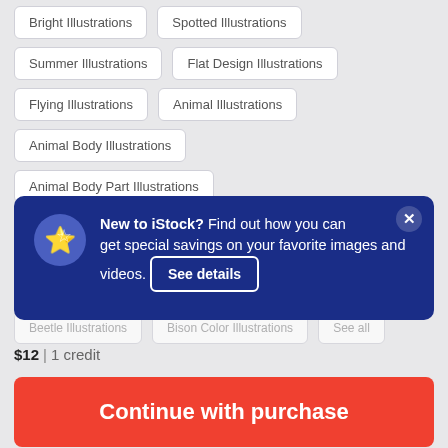Bright Illustrations
Spotted Illustrations
Summer Illustrations
Flat Design Illustrations
Flying Illustrations
Animal Illustrations
Animal Body Illustrations
Animal Body Part Illustrations
[Figure (screenshot): Popup banner on iStock website: 'New to iStock? Find out how you can get special savings on your favorite images and videos.' with a 'See details' button and a star icon on blue background.]
Beetle Illustrations
Bison Color Illustrations
See all
$12 | 1 credit
Continue with purchase